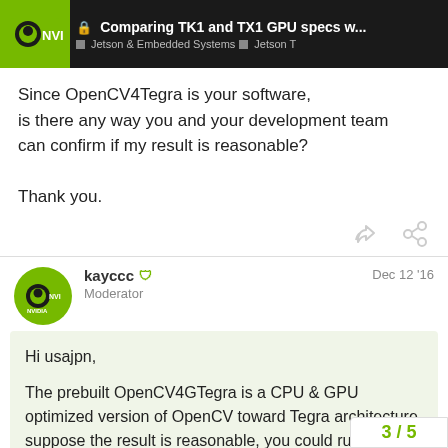Comparing TK1 and TX1 GPU specs w... | Jetson & Embedded Systems | Jetson T
Since OpenCV4Tegra is your software, is there any way you and your development team can confirm if my result is reasonable?

Thank you.
kayccc  Moderator   Dec 12 '16
Hi usajpn,

The prebuilt OpenCV4GTegra is a CPU & GPU optimized version of OpenCV toward Tegra architecture, suppose the result is reasonable, you could run with standard OpenCV to see if any downgrade as reference.
3 / 5